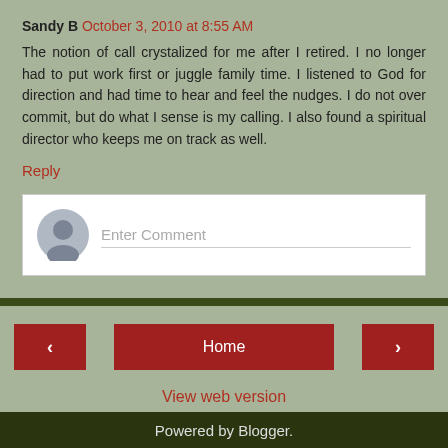Sandy B  October 3, 2010 at 8:55 AM
The notion of call crystalized for me after I retired. I no longer had to put work first or juggle family time. I listened to God for direction and had time to hear and feel the nudges. I do not over commit, but do what I sense is my calling. I also found a spiritual director who keeps me on track as well.
Reply
[Figure (other): Comment input form with user avatar icon and placeholder text 'Enter Comment']
Home | < | >
View web version
Powered by Blogger.